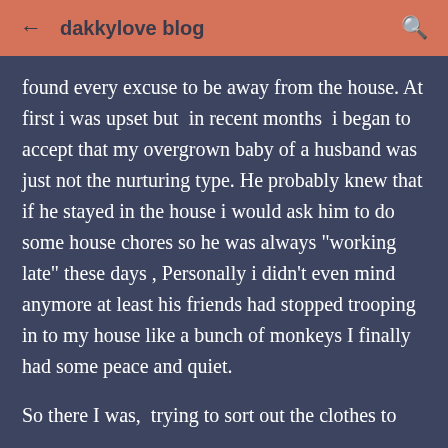← dakkylove blog 🔍
found every excuse to be away from the house. At first i was upset but  in recent months  i began to accept that my overgrown baby of a husband was just not the nurturing type. He probably knew that if he stayed in the house i would ask him to do some house chores so he was always "working late" these days , Personally i didn't even mind anymore at least his friends had stopped trooping in to my house like a bunch of monkeys I finally had some peace and quiet.
So there I was,  trying to sort out the clothes to